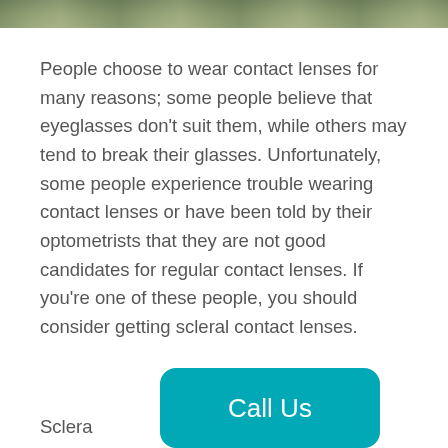[Figure (photo): Partial photo strip at the top of the page, showing an outdoor/nature scene in muted greens and browns]
People choose to wear contact lenses for many reasons; some people believe that eyeglasses don’t suit them, while others may tend to break their glasses. Unfortunately, some people experience trouble wearing contact lenses or have been told by their optometrists that they are not good candidates for regular contact lenses. If you’re one of these people, you should consider getting scleral contact lenses.
Sclera… …le la…